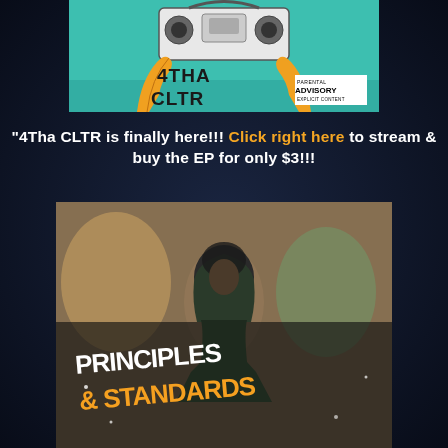[Figure (illustration): Album cover for '4Tha CLTR' — two hands holding up a boombox against a teal/green background, with bold graffiti-style text '4THA CLTR' and a Parental Advisory Explicit Content sticker in the bottom right.]
"4Tha CLTR is finally here!!! Click right here to stream & buy the EP for only $3!!!
[Figure (illustration): Album cover for 'Principles & Standards' — a person in a hooded jacket stands in front of graffiti-covered walls. Bold white brush-script text reads 'PRINCIPLES' and below in orange bold text '& STANDARDS'.]